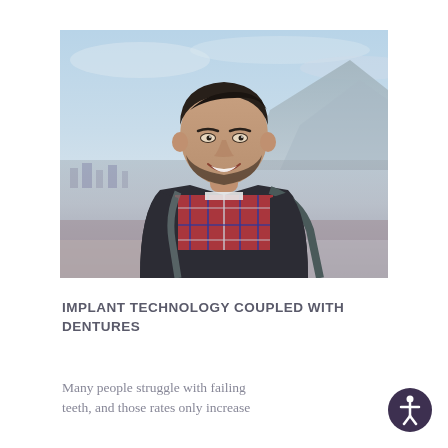[Figure (photo): Smiling middle-aged man with beard and dark hair, wearing a plaid shirt and dark vest with a backpack, outdoors with a blurred cityscape and mountains in the background under a hazy blue sky.]
IMPLANT TECHNOLOGY COUPLED WITH DENTURES
Many people struggle with failing teeth, and those rates only increase